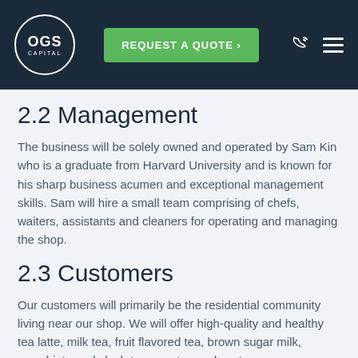OGS Capital | REQUEST A QUOTE
2.2 Management
The business will be solely owned and operated by Sam Kin who is a graduate from Harvard University and is known for his sharp business acumen and exceptional management skills. Sam will hire a small team comprising of chefs, waiters, assistants and cleaners for operating and managing the shop.
2.3 Customers
Our customers will primarily be the residential community living near our shop. We will offer high-quality and healthy tea latte, milk tea, fruit flavored tea, brown sugar milk, macchiato and slush to our esteemed customers.